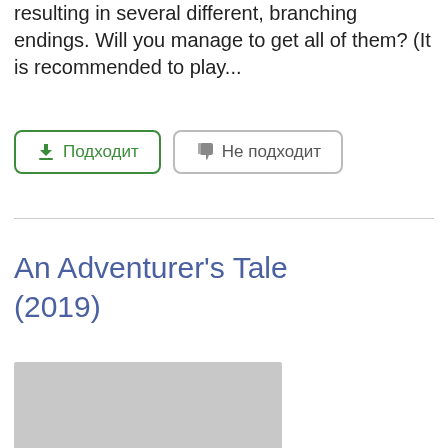resulting in several different, branching endings. Will you manage to get all of them? (It is recommended to play...
Подходит | Не подходит
An Adventurer's Tale (2019)
[Figure (photo): Gray placeholder image for An Adventurer's Tale game]